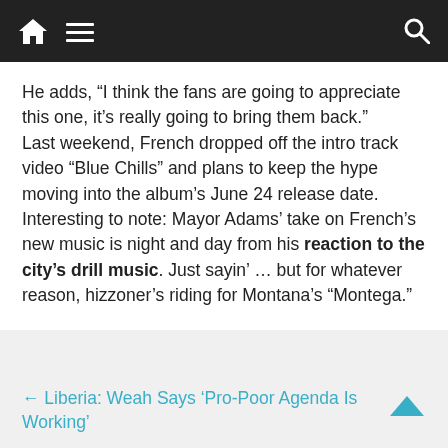[Navigation bar with home, menu, and search icons]
He adds, “I think the fans are going to appreciate this one, it’s really going to bring them back.”
Last weekend, French dropped off the intro track video “Blue Chills” and plans to keep the hype moving into the album’s June 24 release date.
Interesting to note: Mayor Adams’ take on French’s new music is night and day from his reaction to the city’s drill music. Just sayin’ … but for whatever reason, hizzoner’s riding for Montana’s “Montega.”
← Liberia: Weah Says ‘Pro-Poor Agenda Is Working’